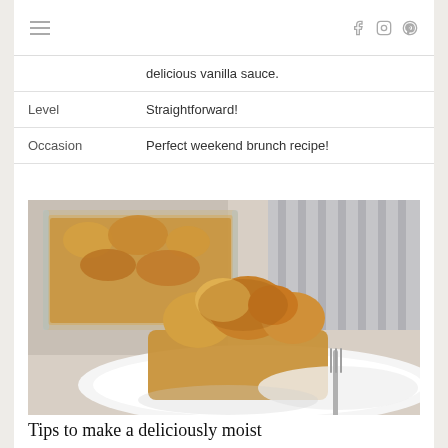≡   f  ◻  p
|  | delicious vanilla sauce. |
| Level | Straightforward! |
| Occasion | Perfect weekend brunch recipe! |
[Figure (photo): A serving of bread pudding on a white plate with a fork, with the baking dish in the background on a light surface with a striped towel]
Tips to make a deliciously moist